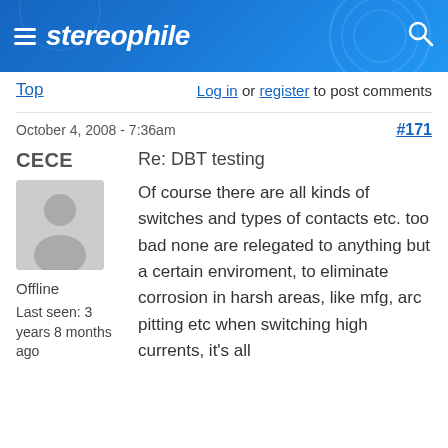stereophile
Top
Log in or register to post comments
October 4, 2008 - 7:36am
#171
CECE
[Figure (photo): Default user avatar silhouette on grey background]
Offline
Last seen: 3 years 8 months ago
Re: DBT testing
Of course there are all kinds of switches and types of contacts etc. too bad none are relegated to anything but a certain enviroment, to eliminate corrosion in harsh areas, like mfg, arc pitting etc when switching high currents, it's all